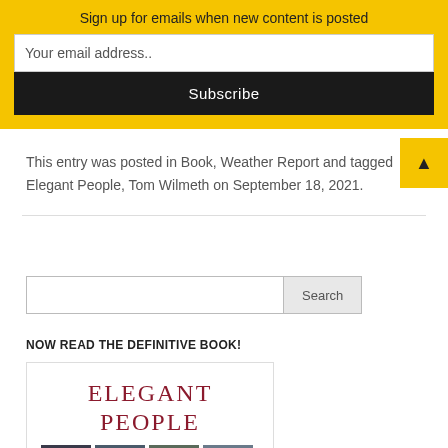Sign up for emails when new content is posted
Your email address..
Subscribe
This entry was posted in Book, Weather Report and tagged Elegant People, Tom Wilmeth on September 18, 2021.
Search
NOW READ THE DEFINITIVE BOOK!
[Figure (illustration): Book cover for Elegant People with title text in dark red serif font and a row of small photographs at the bottom]